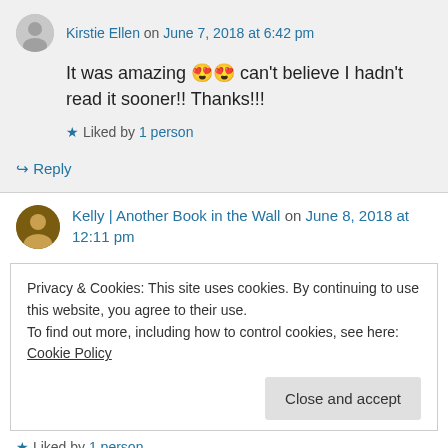Kirstie Ellen on June 7, 2018 at 6:42 pm
It was amazing 😍😍 can't believe I hadn't read it sooner!! Thanks!!!
★ Liked by 1 person
↪ Reply
Kelly | Another Book in the Wall on June 8, 2018 at 12:11 pm
Privacy & Cookies: This site uses cookies. By continuing to use this website, you agree to their use.
To find out more, including how to control cookies, see here: Cookie Policy
Close and accept
★ Liked by 1 person